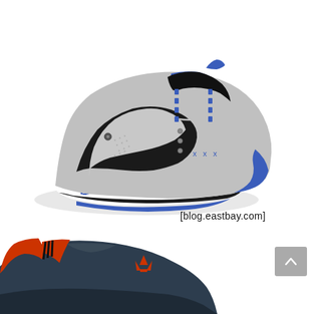[Figure (photo): Adidas mid-top sneaker in grey with blue and black accents, white sole, Adidas trefoil logo on the midsole, XXX embroidery on the upper. Watermark text [blog.eastbay.com] in lower right.]
[Figure (photo): Partial view of a second Adidas sneaker in dark grey/navy with red/orange accents, showing the tongue and upper collar area with Adidas trefoil logo in orange.]